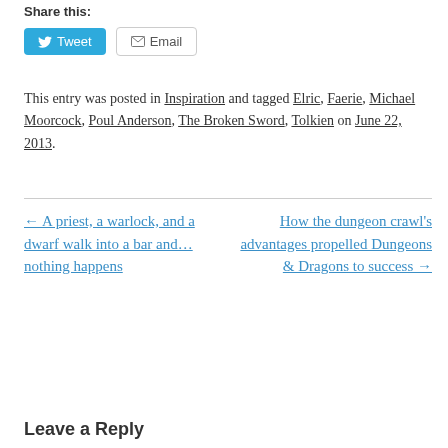Share this:
Tweet  Email
This entry was posted in Inspiration and tagged Elric, Faerie, Michael Moorcock, Poul Anderson, The Broken Sword, Tolkien on June 22, 2013.
← A priest, a warlock, and a dwarf walk into a bar and… nothing happens
How the dungeon crawl's advantages propelled Dungeons & Dragons to success →
Leave a Reply